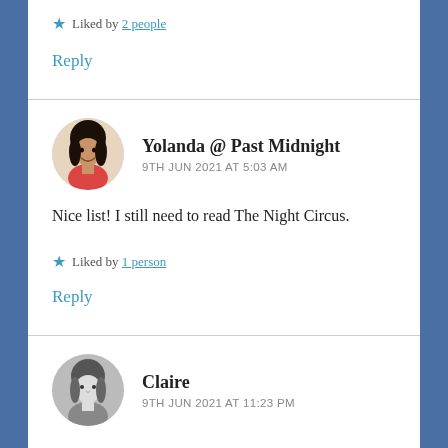★ Liked by 2 people
Reply
Yolanda @ Past Midnight
9TH JUN 2021 AT 5:03 AM
Nice list! I still need to read The Night Circus.
★ Liked by 1 person
Reply
Claire
9TH JUN 2021 AT 11:23 PM